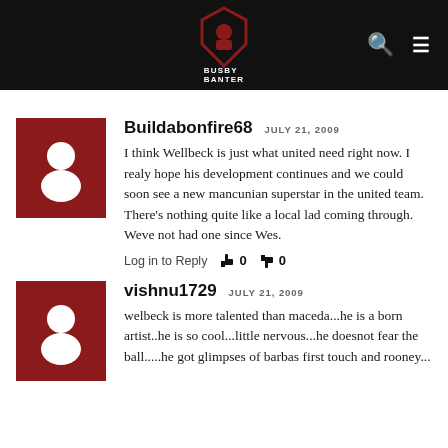BUSBY BANTER
Buildabonfire68   JULY 21, 2009
I think Wellbeck is just what united need right now. I realy hope his development continues and we could soon see a new mancunian superstar in the united team. There's nothing quite like a local lad coming through. Weve not had one since Wes.
Log in to Reply  👍 0  👎 0
vishnu1729   JULY 21, 2009
welbeck is more talented than maceda...he is a born artist..he is so cool...little nervous...he doesnot fear the ball.....he got glimpses of barbas first touch and rooney...